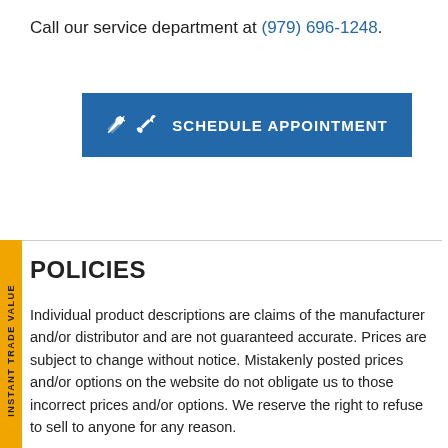Call our service department at (979) 696-1248.
[Figure (other): Blue 'SCHEDULE APPOINTMENT' button with a wrench icon]
[Figure (other): Yellow vertical side tab reading 'INSTANT TRADE VALUE']
POLICIES
Individual product descriptions are claims of the manufacturer and/or distributor and are not guaranteed accurate. Prices are subject to change without notice. Mistakenly posted prices and/or options on the website do not obligate us to those incorrect prices and/or options. We reserve the right to refuse to sell to anyone for any reason.